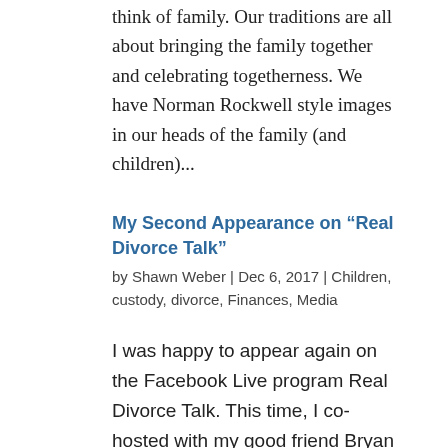think of family. Our traditions are all about bringing the family together and celebrating togetherness. We have Norman Rockwell style images in our heads of the family (and children)...
My Second Appearance on “Real Divorce Talk”
by Shawn Weber | Dec 6, 2017 | Children, custody, divorce, Finances, Media
I was happy to appear again on the Facebook Live program Real Divorce Talk. This time, I co-hosted with my good friend Bryan Devore. The potential for this program as a divorce information resource really excites me. About Bryan Devore Bryan Devore co-founded Divorce...